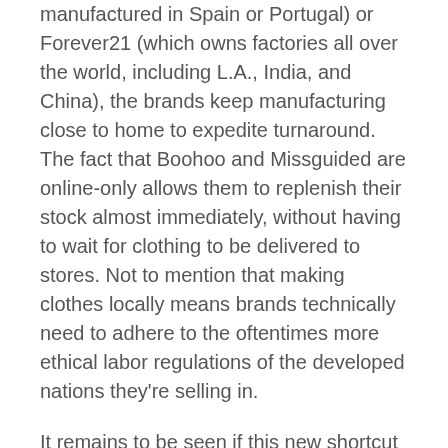manufactured in Spain or Portugal) or Forever21 (which owns factories all over the world, including L.A., India, and China), the brands keep manufacturing close to home to expedite turnaround. The fact that Boohoo and Missguided are online-only allows them to replenish their stock almost immediately, without having to wait for clothing to be delivered to stores. Not to mention that making clothes locally means brands technically need to adhere to the oftentimes more ethical labor regulations of the developed nations they're selling in.
It remains to be seen if this new shortcut to faster fashion will inspire the current top tier of retailers to change their production practices. At the breakneck speed fast fashion is going, we only hope our closets can keep up. (The Guardian)